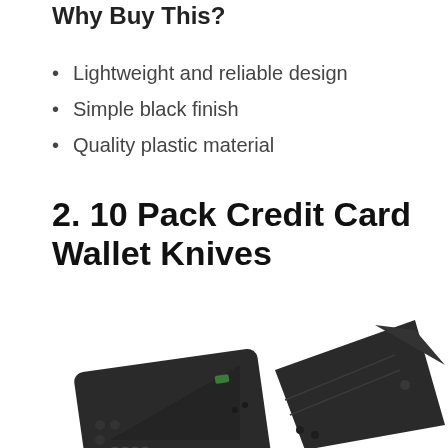Why Buy This?
Lightweight and reliable design
Simple black finish
Quality plastic material
2. 10 Pack Credit Card Wallet Knives
[Figure (photo): Two black credit card folding knives, one flat/closed and one partially opened showing blade deployment, photographed against white background]